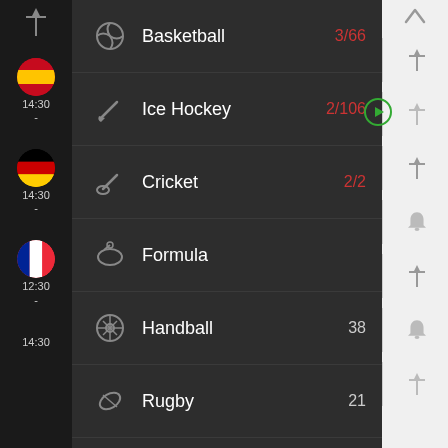[Figure (screenshot): Sports betting/live scores mobile app interface showing a list of sports with icons, names, and event counts. Center dark panel lists: Basketball 3/66, Ice Hockey 2/106, Cricket 2/2, Formula, Handball 38, Rugby 21, Am. Football 4, Baseball 1. Left sidebar shows pin icon, Spanish flag (14:30), German flag (14:30), French flag (12:30), and 14:30 time labels. Right sidebar shows navigation arrows, pin icons, bell icons, and a green play button.]